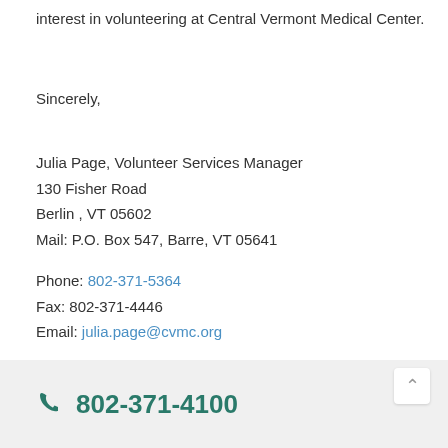interest in volunteering at Central Vermont Medical Center.
Sincerely,
Julia Page, Volunteer Services Manager
130 Fisher Road
Berlin , VT 05602
Mail: P.O. Box 547, Barre, VT 05641
Phone: 802-371-5364
Fax: 802-371-4446
Email: julia.page@cvmc.org
802-371-4100